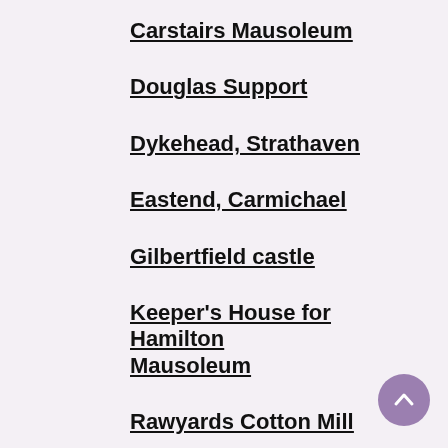Carstairs Mausoleum
Douglas Support
Dykehead, Strathaven
Eastend, Carmichael
Gilbertfield castle
Keeper's House for Hamilton Mausoleum
Rawyards Cotton Mill
Shark's Mouth, Coatbridge